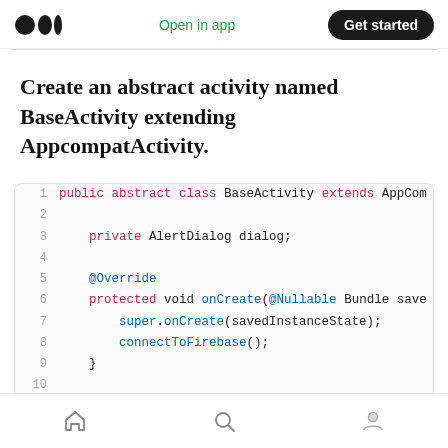Medium logo | Open in app | Get started
Create an abstract activity named BaseActivity extending AppcompatActivity.
[Figure (screenshot): Code block showing Java code: public abstract class BaseActivity extends AppCom... with lines 1-10 visible. Line 3: private AlertDialog dialog; Line 5: @Override annotation. Line 6: protected void onCreate(@Nullable Bundle save... Line 7: super.onCreate(savedInstanceState); Line 8: connectToFirebase(); Line 9: closing brace }]
Home | Search | Profile